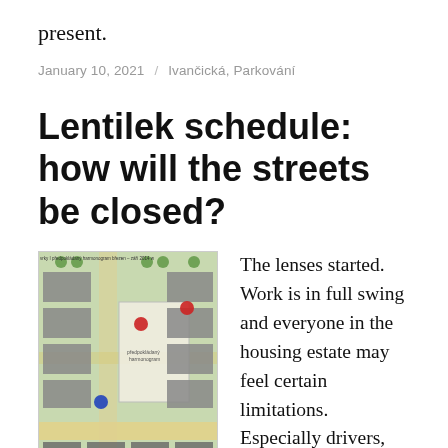present.
January 10, 2021 / Ivančická, Parkování
Lentilek schedule: how will the streets be closed?
[Figure (map): Aerial/street map showing a housing estate area with buildings, green spaces, roads, and construction zone overlay. Text at top reads: 'vrky I  předpokládaný harmonogram březen – září 2014  w']
The lenses started. Work is in full swing and everyone in the housing estate may feel certain limitations. Especially drivers, for whom several